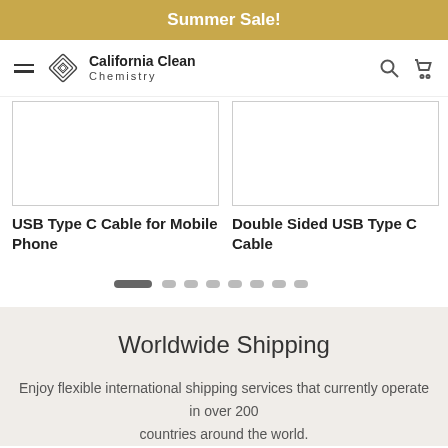Summer Sale!
[Figure (logo): California Clean Chemistry logo with diamond-shaped geometric icon and brand name]
[Figure (photo): Product image placeholder for USB Type C Cable for Mobile Phone]
USB Type C Cable for Mobile Phone
[Figure (photo): Product image placeholder for Double Sided USB Type C Cable]
Double Sided USB Type C Cable
[Figure (infographic): Carousel pagination dots, first dot active (elongated), remaining 7 dots circular]
Worldwide Shipping
Enjoy flexible international shipping services that currently operate in over 200 countries around the world.